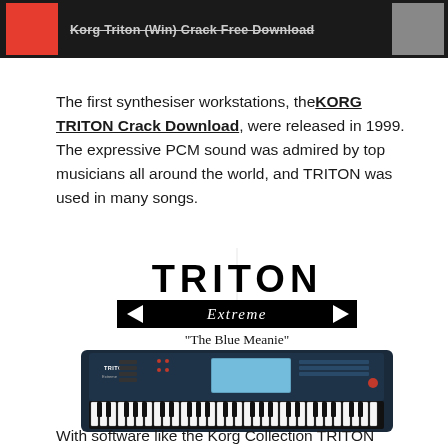Korg Triton (Win) Crack Free Download
The first synthesiser workstations, the KORG TRITON Crack Download, were released in 1999. The expressive PCM sound was admired by top musicians all around the world, and TRITON was used in many songs.
[Figure (illustration): TRITON Extreme logo with black banner and arrows, subtitle 'The Blue Meanie', and photo of Korg Triton Extreme keyboard synthesizer workstation]
With software like the Korg Collection TRITON